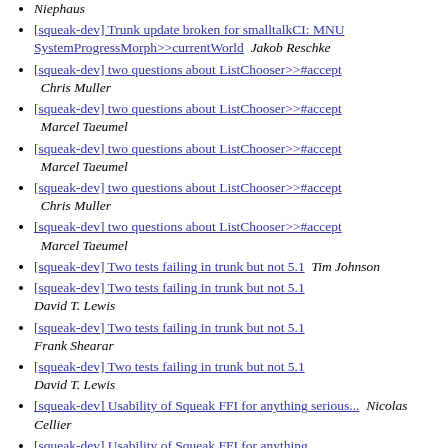Niephaus
[squeak-dev] Trunk update broken for smalltalkCI: MNU SystemProgressMorph>>currentWorld  Jakob Reschke
[squeak-dev] two questions about ListChooser>>#accept  Chris Muller
[squeak-dev] two questions about ListChooser>>#accept  Marcel Taeumel
[squeak-dev] two questions about ListChooser>>#accept  Marcel Taeumel
[squeak-dev] two questions about ListChooser>>#accept  Chris Muller
[squeak-dev] two questions about ListChooser>>#accept  Marcel Taeumel
[squeak-dev] Two tests failing in trunk but not 5.1  Tim Johnson
[squeak-dev] Two tests failing in trunk but not 5.1  David T. Lewis
[squeak-dev] Two tests failing in trunk but not 5.1  Frank Shearar
[squeak-dev] Two tests failing in trunk but not 5.1  David T. Lewis
[squeak-dev] Usability of Squeak FFI for anything serious...  Nicolas Cellier
[squeak-dev] Usability of Squeak FFI for anything